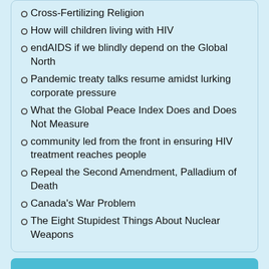Cross-Fertilizing Religion
How will children living with HIV
endAIDS if we blindly depend on the Global North
Pandemic treaty talks resume amidst lurking corporate pressure
What the Global Peace Index Does and Does Not Measure
community led from the front in ensuring HIV treatment reaches people
Repeal the Second Amendment, Palladium of Death
Canada's War Problem
The Eight Stupidest Things About Nuclear Weapons
Main menu
Home
Artic…